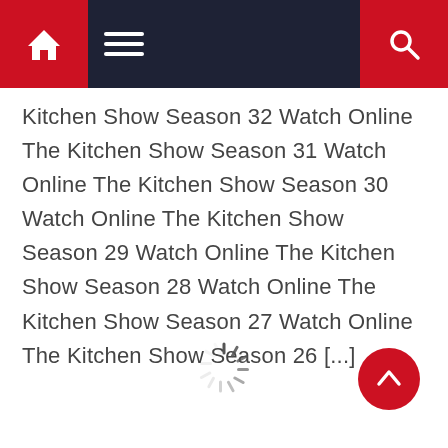[Figure (screenshot): Website navigation bar with dark navy background, red home button on left with house icon, hamburger menu icon in center, and red search button on right with magnifying glass icon]
Kitchen Show Season 32 Watch Online The Kitchen Show Season 31 Watch Online The Kitchen Show Season 30 Watch Online The Kitchen Show Season 29 Watch Online The Kitchen Show Season 28 Watch Online The Kitchen Show Season 27 Watch Online The Kitchen Show Season 26 [...]
[Figure (other): Loading spinner icon in gray at bottom center of page]
[Figure (other): Red circular back-to-top button with upward chevron arrow on bottom right]